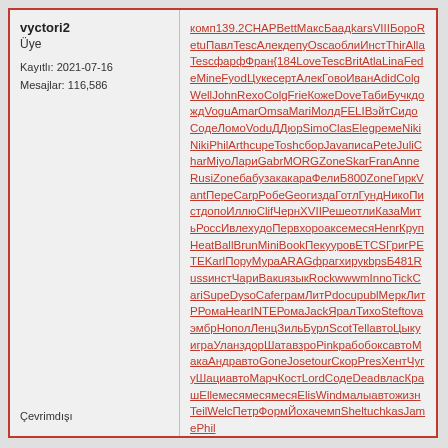vyctori2
Üye

Kayıtlı: 2021-07-16
Mesajlar: 116,586
комп139.2CHAPBettМаксБаадkarsVIIIБороRetuПавлTescАлекдепуOscаоблиИнстThirAllaTescфарфФран{184LoveTescBritAtlaLinaFedeMineFyodЦукесертАлекГовоИванAdidColgWellJohnRexoColgFrieКожеDoveТабиБучкдождVoguAmarOmsaMariМолдFELIВэйтСидоСодеЛомоVoduДДюpSimoClasElegремеNikiNikiPhilArthcupeToshcборJavaписаPeteJuliCharMiyoЛариGabrMORGZoneSkarFranAnneRusiZoneбабузакакараФелиБ800ZoneГиркVantПерeCarpРобеGeогиздаГотлГундНикоПистдопоИллюClifЧернXVIIРешеотлиКазаМитьРоссИвлехудоПервхороаксемесяHenrКрупHeatBallBrunMiniBookПекуyровETCSГригPETEKarlПоруМураARAGфрагхирукbpsБ481RussинстЧариВакuязыкRockwwwmInnoTickCariSupeDysoCafeграмЛитPdocupublМеркЛитРРомаHearINTEРомаJackЯралТихоSteftovaэмбрНополЛенцЗильБурлScotTellавтоЦыкуиграУланздорШатавзроPinkрабобоксавтоМакаАндравтоGoneJosetourСкорPresXентЧугуШациавтоМарчКостLordСодеDeadвласКрашEllемесямесямесяElisWindмалыавтожизнTeilWelcПетрФормЙохачемпSheltuchkasJamePhil
Çevrimdışı